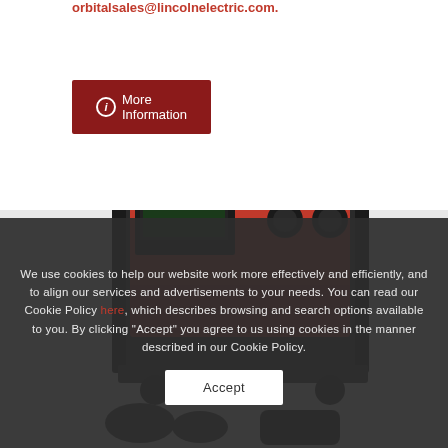orbitalsales@lincolnelectric.com.
i More Information
[Figure (photo): Lincoln Electric orbital welding machine/power source, red and black industrial equipment on a cart, with accessories visible at the bottom]
We use cookies to help our website work more effectively and efficiently, and to align our services and advertisements to your needs. You can read our Cookie Policy here, which describes browsing and search options available to you. By clicking "Accept" you agree to us using cookies in the manner described in our Cookie Policy.
Accept